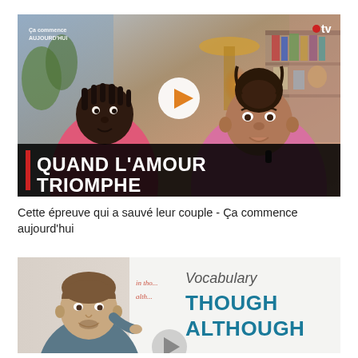[Figure (screenshot): TV show video thumbnail showing two people (man in pink shirt and woman in pink shirt) sitting in a studio. Text overlay reads 'QUAND L'AMOUR TRIOMPHE' with a red accent bar. Top left shows show logo, top right shows .tv logo. Play button in center.]
Cette épreuve qui a sauvé leur couple - Ça commence aujourd'hui
[Figure (screenshot): Educational vocabulary video thumbnail showing a teacher in front of a whiteboard with text 'Vocabulary' and 'THOUGH ALTHOUGH' in teal bold letters. Play button visible.]